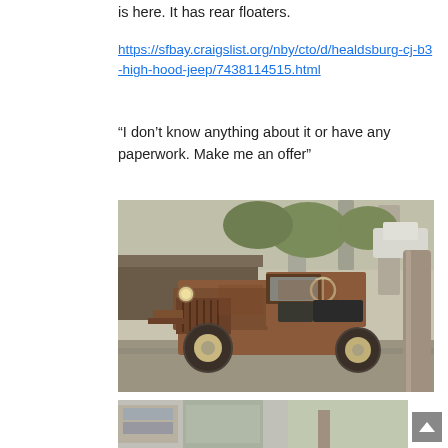is here. It has rear floaters.
https://sfbay.craigslist.org/nby/cto/d/healdsburg-cj-b3-high-hood-jeep/7438114515.html
“I don’t know anything about it or have any paperwork. Make me an offer”
[Figure (photo): A heavily rusted old military-style Jeep (CJ-B3 high hood) parked on gravel/dirt, surrounded by trees and other vehicles in the background. The Jeep appears to be in rough, unrestored condition with significant rust and patina.]
[Figure (photo): Partial view of another vehicle or scene, cut off at bottom of page.]